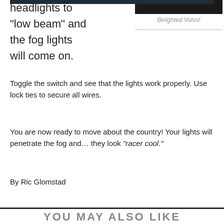[Figure (photo): Dark/black top strip of a photo (Belighted Volvo)]
Belighted Volvo!
headlights to “low beam” and the fog lights will come on.
Toggle the switch and see that the lights work properly. Use lock ties to secure all wires.
You are now ready to move about the country! Your lights will penetrate the fog and… they look “racer cool.”
By Ric Glomstad
Tagged: driving lights, fog lights, how to, Ric Glomstad, tech tips, wiring
YOU MAY ALSO LIKE